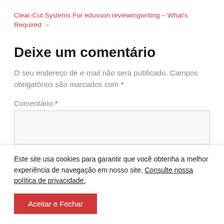Clear-Cut Systems For edusson reviewingwriting – What's Required →
Deixe um comentário
O seu endereço de e-mail não será publicado. Campos obrigatórios são marcados com *
Comentário *
Este site usa cookies para garantir que você obtenha a melhor experiência de navegação em nosso site. Consulte nossa política de privacidade.
Aceitar e Fechar